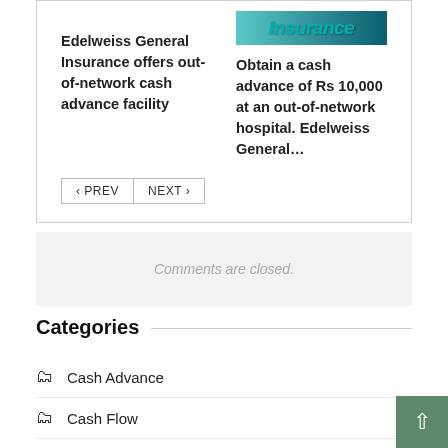Edelweiss General Insurance offers out-of-network cash advance facility
[Figure (screenshot): Partial image with teal/dark teal gradient background and the word 'Insurance' in teal bold italic text]
Obtain a cash advance of Rs 10,000 at an out-of-network hospital. Edelweiss General…
< PREV   NEXT >
Comments are closed.
Categories
Cash Advance
Cash Flow
Cash Invoice